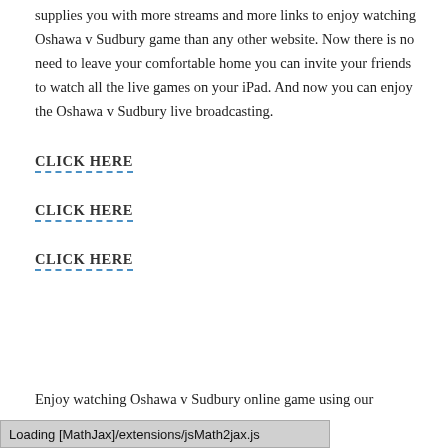supplies you with more streams and more links to enjoy watching Oshawa v Sudbury game than any other website. Now there is no need to leave your comfortable home you can invite your friends to watch all the live games on your iPad. And now you can enjoy the Oshawa v Sudbury live broadcasting.
CLICK HERE
CLICK HERE
CLICK HERE
Enjoy watching Oshawa v Sudbury online game using our
Loading [MathJax]/extensions/jsMath2jax.js